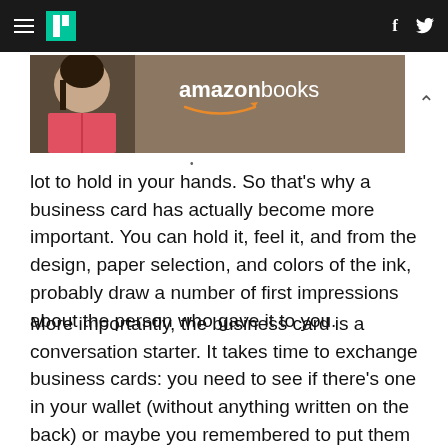HuffPost navigation with hamburger menu, logo, Facebook and Twitter icons
[Figure (photo): Amazon Books advertisement banner showing a person reading a book with the Amazon Books logo and smile arrow]
lot to hold in your hands. So that's why a business card has actually become more important. You can hold it, feel it, and from the design, paper selection, and colors of the ink, probably draw a number of first impressions about the person who gave it to you.
More importantly, the business card is a conversation starter. It takes time to exchange business cards: you need to see if there's one in your wallet (without anything written on the back) or maybe you remembered to put them in your